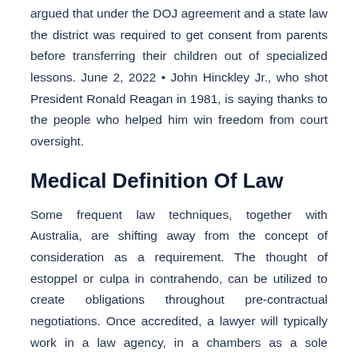argued that under the DOJ agreement and a state law the district was required to get consent from parents before transferring their children out of specialized lessons. June 2, 2022 • John Hinckley Jr., who shot President Ronald Reagan in 1981, is saying thanks to the people who helped him win freedom from court oversight.
Medical Definition Of Law
Some frequent law techniques, together with Australia, are shifting away from the concept of consideration as a requirement. The thought of estoppel or culpa in contrahendo, can be utilized to create obligations throughout pre-contractual negotiations. Once accredited, a lawyer will typically work in a law agency, in a chambers as a sole practitioner, in a government publish or in a personal company as an inside counsel. In addition a lawyer might turn out to be a authorized